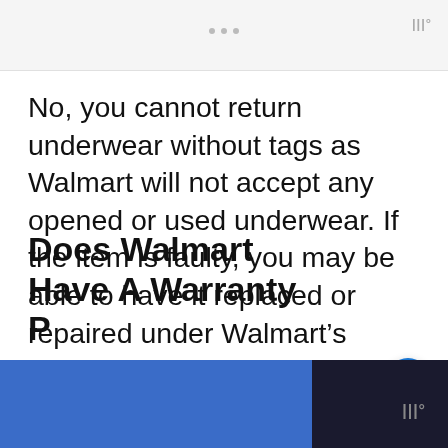...  |||°
No, you cannot return underwear without tags as Walmart will not accept any opened or used underwear. If the item is faulty, you may be able to have it replaced or repaired under Walmart's warranty plan, but this is at the discretion of the store manager.
Does Walmart Have A Warranty P
|||°